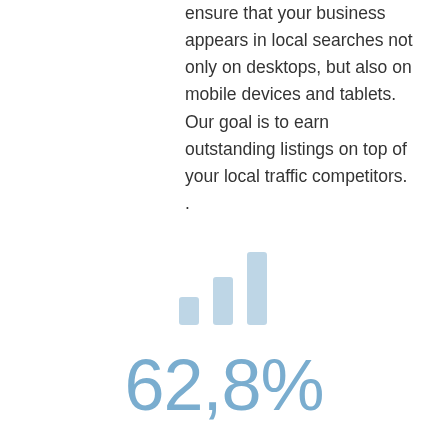ensure that your business appears in local searches not only on desktops, but also on mobile devices and tablets. Our goal is to earn outstanding listings on top of your local traffic competitors. .
[Figure (infographic): Bar chart icon with three vertical bars in light blue color, representing analytics or statistics]
62,8%